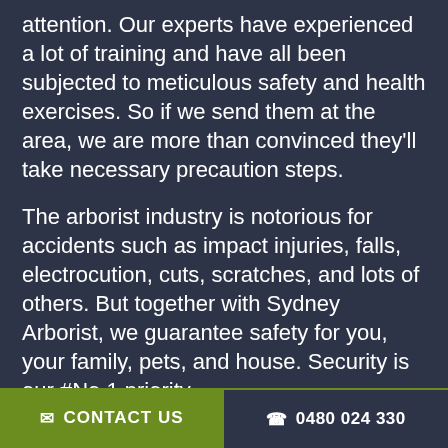attention. Our experts have experienced a lot of training and have all been subjected to meticulous safety and health exercises. So if we send them at the area, we are more than convinced they'll take necessary precaution steps.
The arborist industry is notorious for accidents such as impact injuries, falls, electrocution, cuts, scratches, and lots of others. But together with Sydney Arborist, we guarantee safety for you, your family, pets, and house. Security is our #No.1 priority.
To put it simply, if you've got any security concerns, our friendly and professional team will give you peace of mind and happily give you a rundown of how they intend to deal with
✉ CONTACT US   ☎ 0480 024 330